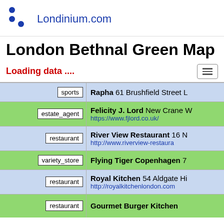Londinium.com
London Bethnal Green Map
Loading data ....
| category | name / address / url |
| --- | --- |
| sports | Rapha 61 Brushfield Street L... |
| estate_agent | Felicity J. Lord New Crane W... https://www.fjlord.co.uk/ |
| restaurant | River View Restaurant 16 N... http://www.riverview-restaura... |
| variety_store | Flying Tiger Copenhagen 7... |
| restaurant | Royal Kitchen 54 Aldgate Hi... http://royalkitchenlondon.com... |
| restaurant | Gourmet Burger Kitchen... |